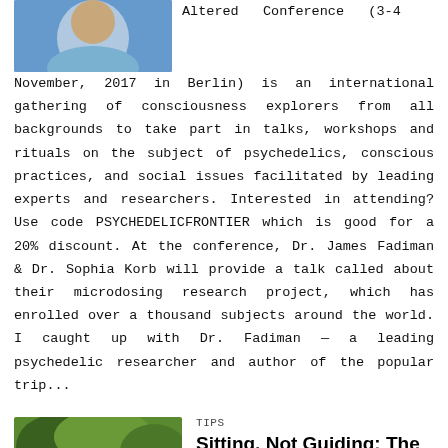[Figure (photo): Photo of a person (partial, top portion visible) against a blue background]
Altered Conference (3-4 November, 2017 in Berlin) is an international gathering of consciousness explorers from all backgrounds to take part in talks, workshops and rituals on the subject of psychedelics, conscious practices, and social issues facilitated by leading experts and researchers. Interested in attending? Use code PSYCHEDELICFRONTIER which is good for a 20% discount. At the conference, Dr. James Fadiman & Dr. Sophia Korb will provide a talk called about their microdosing research project, which has enrolled over a thousand subjects around the world. I caught up with Dr. Fadiman — a leading psychedelic researcher and author of the popular trip...
[Figure (photo): Outdoor nature scene with trees and green foliage]
TIPS
Sitting, Not Guiding: The Power of Non-Directive